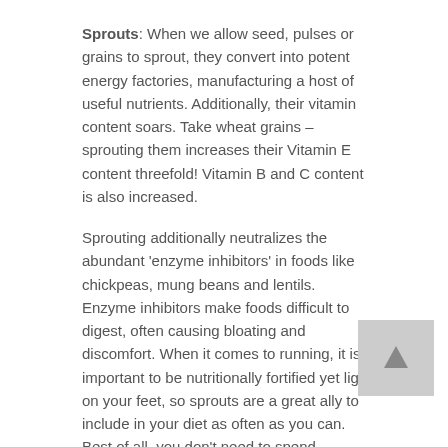Sprouts: When we allow seed, pulses or grains to sprout, they convert into potent energy factories, manufacturing a host of useful nutrients. Additionally, their vitamin content soars. Take wheat grains – sprouting them increases their Vitamin E content threefold! Vitamin B and C content is also increased.
Sprouting additionally neutralizes the abundant 'enzyme inhibitors' in foods like chickpeas, mung beans and lentils. Enzyme inhibitors make foods difficult to digest, often causing bloating and discomfort. When it comes to running, it is important to be nutritionally fortified yet light on your feet, so sprouts are a great ally to include in your diet as often as you can. Best of all, you don't need to spend inordinate amounts on 'designer sprouts' at health food stores and supermarkets; rather, you can simply make your own sprouts at home. This helpful post by Biologist, author and popular blogger, Leslie Kenton,  will take you a long way towards building your own little garden of sprouts.
By Lily Hardcastle